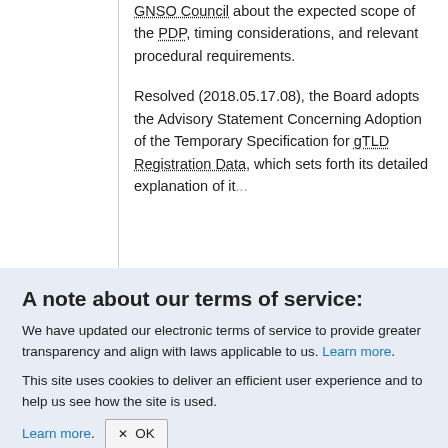GNSO Council about the expected scope of the PDP, timing considerations, and relevant procedural requirements.
Resolved (2018.05.17.08), the Board adopts the Advisory Statement Concerning Adoption of the Temporary Specification for gTLD Registration Data, which sets forth its detailed explanation of it...
A note about our terms of service:
We have updated our electronic terms of service to provide greater transparency and align with laws applicable to us. Learn more.
This site uses cookies to deliver an efficient user experience and to help us see how the site is used. Learn more. OK